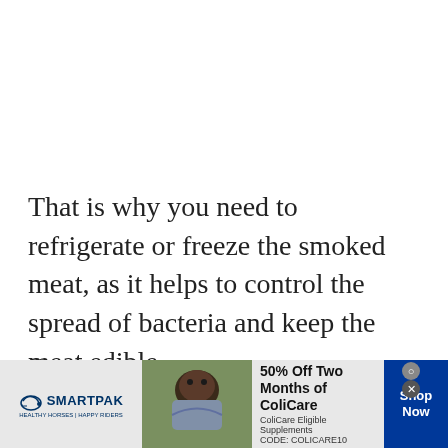That is why you need to refrigerate or freeze the smoked meat, as it helps to control the spread of bacteria and keep the meat edible.
How to keep smoked meat
[Figure (other): SmartPak advertisement banner showing horse supplement product with 50% off ColiCare promotion, promo code COLICARE10, and Shop Now button]